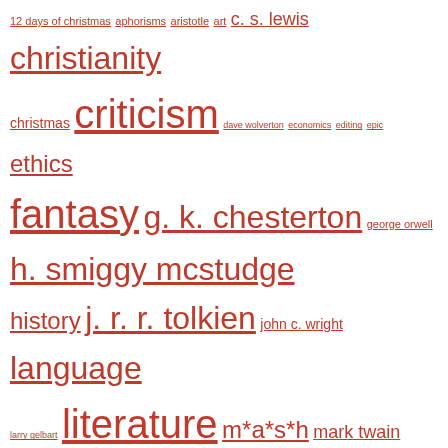[Figure (other): Tag cloud with links of varying sizes in red/crimson color: 12 days of christmas, aphorisms, aristotle, art, c. s. lewis, christianity, christmas, criticism, dave wolverton, economics, editing, epic, ethics, fantasy, g. k. chesterton, george orwell, h. smiggy mcstudge, history, j. r. r. tolkien, john c. wright, language, larry gelbart, literature, m*a*s*h, mark twain, music, personal, philosophy, poetry, politics, publishing, sarah a. hoyt, sarah dimento, satire, science fiction, star wars, stephen r. donaldson, terennian cycle, the eye of the maker, thomas sowell, ursula k. le guin, video, where angels die, writing, writing down the dragon]
Superversive Fiction
Abyss & Apex
A webzine of science fiction & fantasy
Edited by Wendy S. Delmater
Sci Phi Journal